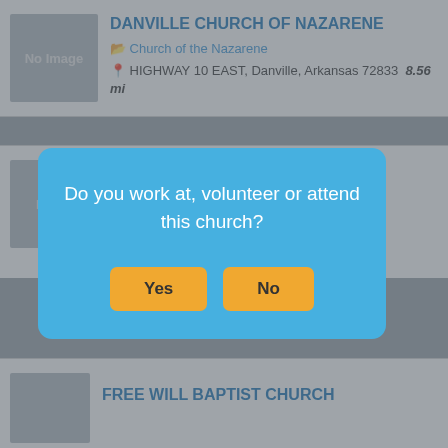DANVILLE CHURCH OF NAZARENE
Church of the Nazarene
HIGHWAY 10 EAST, Danville, Arkansas 72833  8.56 mi
[Figure (screenshot): No Image placeholder box for church listing]
Arkansas 72833  9.24 mi
501-495-2873
http://www.fbcdan.com/
[Figure (screenshot): Modal dialog asking: Do you work at, volunteer or attend this church? with Yes and No buttons]
FREE WILL BAPTIST CHURCH